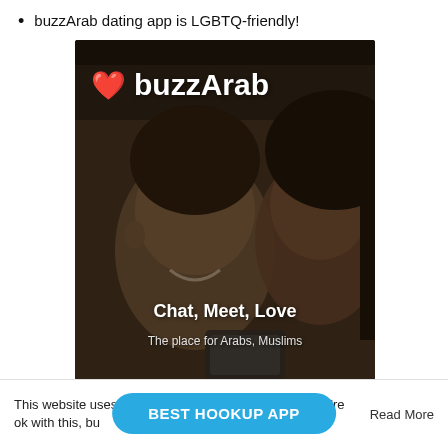buzzArab dating app is LGBTQ-friendly!
[Figure (screenshot): BuzzArab dating app promotional image showing a couple smiling at a phone, with a red heart emoji, the brand name 'buzzArab' in white bold text, tagline 'Chat, Meet, Love', and subtitle 'The place for Arabs, Muslims']
This website uses [cookies]. We'll assume you're ok with this, bu[t you can opt-out if you wish.]   Read More
BEST HOOKUP APP